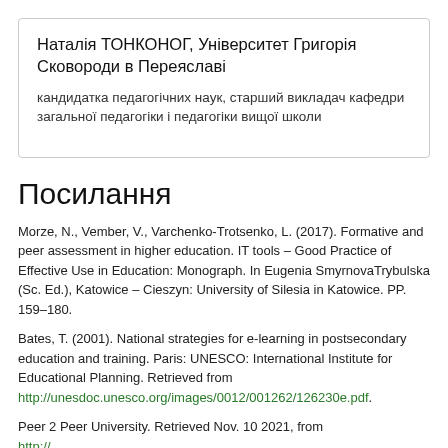Наталія ТОНКОНОГ, Університет Григорія Сковороди в Переяславі
кандидатка педагогічних наук, старший викладач кафедри загальної педагогіки і педагогіки вищої школи
Посилання
Morze, N., Vember, V., Varchenko-Trotsenko, L. (2017). Formative and peer assessment in higher education. IT tools – Good Practice of Effective Use in Education: Monograph. In Eugenia SmyrnovaTrybulska (Sc. Ed.), Katowice – Cieszyn: University of Silesia in Katowice. PP. 159–180.
Bates, T. (2001). National strategies for e-learning in postsecondary education and training. Paris: UNESCO: International Institute for Educational Planning. Retrieved from http://unesdoc.unesco.org/images/0012/001262/126230e.pdf.
Peer 2 Peer University. Retrieved Nov. 10 2021, from http://...